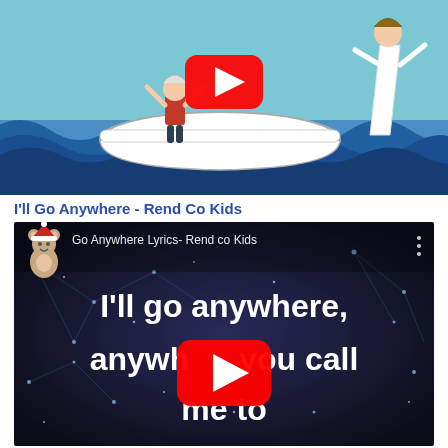[Figure (screenshot): YouTube video thumbnail showing a illustrated children's scene with a child in a white boat on blue waves, and a figure of Jesus on the right side. A red YouTube play button is overlaid in the center.]
I'll Go Anywhere - Rend Co Kids
[Figure (screenshot): YouTube video thumbnail for 'Go Anywhere Lyrics- Rend co Kids' showing a dark blue background with glowing network dots and lines. Text reads: I'll go anywhere, anywhere you call me to. A red YouTube play button is overlaid in the center. A teddy bear icon with a Santa hat appears top left.]